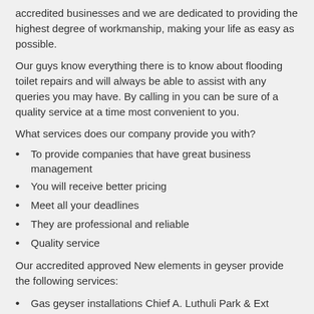accredited businesses and we are dedicated to providing the highest degree of workmanship, making your life as easy as possible.
Our guys know everything there is to know about flooding toilet repairs and will always be able to assist with any queries you may have. By calling in you can be sure of a quality service at a time most convenient to you.
What services does our company provide you with?
To provide companies that have great business management
You will receive better pricing
Meet all your deadlines
They are professional and reliable
Quality service
Our accredited approved New elements in geyser provide the following services:
Gas geyser installations Chief A. Luthuli Park & Ext
Burst pipes from erosion Chief A. Luthuli Park & Ext
Leak detection Chief A. Luthuli Park & Ext
Leaking pipes Chief A. Luthuli Park & Ext
Geyser installations Chief A. Luthuli Park & Ext
Valve replacements Chief A. Luthuli Park & Ext
Basin repairs Chief A. Luthuli Park & Ext
Burst pipes Chief A. Luthuli Park & Ext
Flooding toilet repairs Chief A. Luthuli Park & Ext